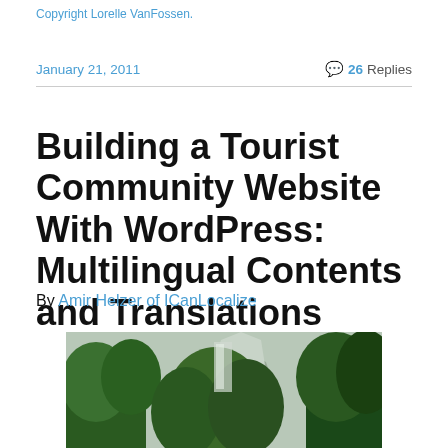Copyright Lorelle VanFossen.
January 21, 2011  💬 26 Replies
Building a Tourist Community Website With WordPress: Multilingual Contents and Translations
By Amir Helzer of ICanLocalize
[Figure (photo): Photograph of a forested mountain landscape with tall trees, a rocky mountain face or waterfall in the background, and a river or path in the foreground.]